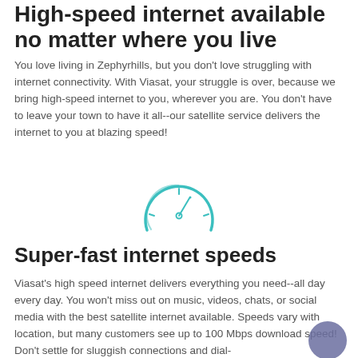High-speed internet available no matter where you live
You love living in Zephyrhills, but you don't love struggling with internet connectivity. With Viasat, your struggle is over, because we bring high-speed internet to you, wherever you are. You don't have to leave your town to have it all--our satellite service delivers the internet to you at blazing speed!
[Figure (illustration): Speedometer / gauge icon drawn in teal/cyan outline style, indicating high speed.]
Super-fast internet speeds
Viasat's high speed internet delivers everything you need--all day every day. You won't miss out on music, videos, chats, or social media with the best satellite internet available. Speeds vary with location, but many customers see up to 100 Mbps download speed! Don't settle for sluggish connections and dial-up quality. Viasat internet performs far above reliability and...